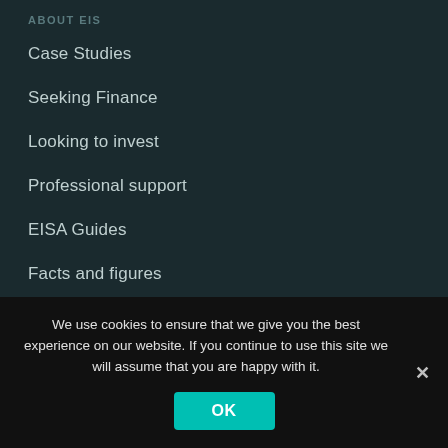ABOUT EIS
Case Studies
Seeking Finance
Looking to invest
Professional support
EISA Guides
Facts and figures
EIS/SEIS Open Offers
ABOUT EISA
We use cookies to ensure that we give you the best experience on our website. If you continue to use this site we will assume that you are happy with it.